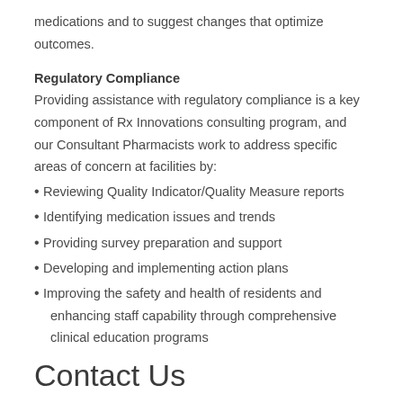medications and to suggest changes that optimize outcomes.
Regulatory Compliance
Providing assistance with regulatory compliance is a key component of Rx Innovations consulting program, and our Consultant Pharmacists work to address specific areas of concern at facilities by:
Reviewing Quality Indicator/Quality Measure reports
Identifying medication issues and trends
Providing survey preparation and support
Developing and implementing action plans
Improving the safety and health of residents and enhancing staff capability through comprehensive clinical education programs
Contact Us